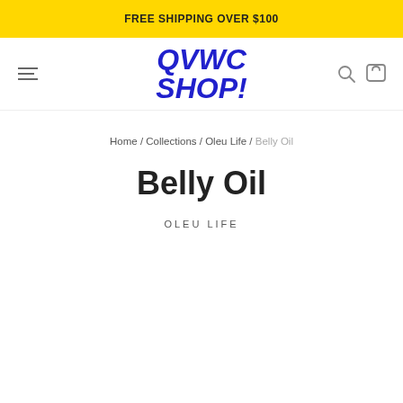FREE SHIPPING OVER $100
[Figure (logo): QVWC SHOP! logo in bold blue italic text with hamburger menu icon on left and search/cart icons on right]
Home / Collections / Oleu Life / Belly Oil
Belly Oil
OLEU LIFE